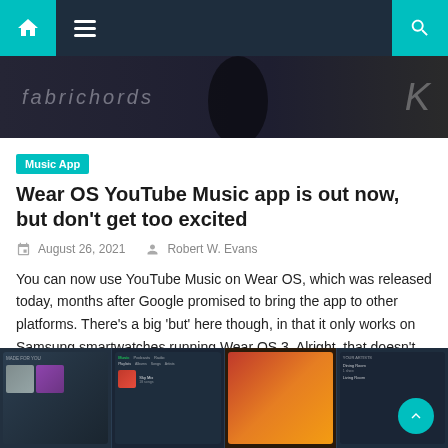Navigation bar with home, menu, and search icons
[Figure (screenshot): Dark header image with blurred text overlay, partial view of a music app or device]
Music App
Wear OS YouTube Music app is out now, but don't get too excited
August 26, 2021   Robert W. Evans
You can now use YouTube Music on Wear OS, which was released today, months after Google promised to bring the app to other platforms. There's a big 'but' here though, in that it only works on Samsung smartwatches running Wear OS 3. Alright, that doesn't sound too bad, maybe. I mean, Samsung is one of [...]
[Figure (screenshot): Bottom strip showing four phone/smartwatch app screenshots of a music application interface]